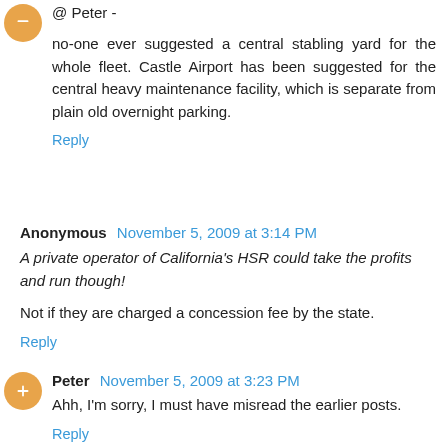@ Peter -
no-one ever suggested a central stabling yard for the whole fleet. Castle Airport has been suggested for the central heavy maintenance facility, which is separate from plain old overnight parking.
Reply
Anonymous  November 5, 2009 at 3:14 PM
A private operator of California's HSR could take the profits and run though!
Not if they are charged a concession fee by the state.
Reply
Peter  November 5, 2009 at 3:23 PM
Ahh, I'm sorry, I must have misread the earlier posts.
Reply